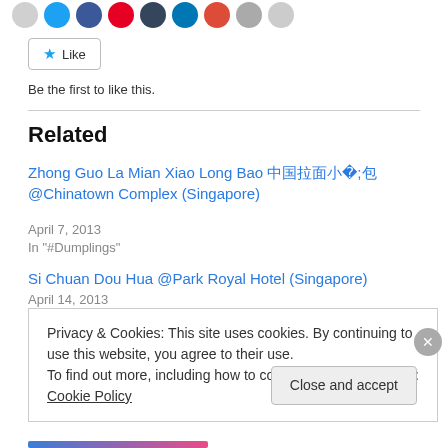[Figure (other): Row of social media share icons: Twitter, Facebook, Pinterest, Tumblr, LinkedIn, Google+, Email, Print, WordPress]
[Figure (other): Like button with blue star icon]
Be the first to like this.
Related
Zhong Guo La Mian Xiao Long Bao 中国拉面小笼包 @Chinatown Complex (Singapore)
April 7, 2013
In "#Dumplings"
Si Chuan Dou Hua @Park Royal Hotel (Singapore)
April 14, 2013
Privacy & Cookies: This site uses cookies. By continuing to use this website, you agree to their use.
To find out more, including how to control cookies, see here: Cookie Policy
Close and accept